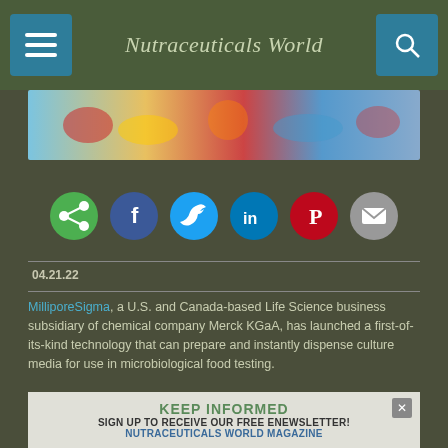Nutraceuticals World
[Figure (photo): Colorful food/nutrition image strip showing fruits and vegetables]
[Figure (infographic): Social sharing icons row: share (green), Facebook (dark blue), Twitter (light blue), LinkedIn (blue), Pinterest (red), email (grey)]
04.21.22
MilliporeSigma, a U.S. and Canada-based Life Science business subsidiary of chemical company Merck KGaA, has launched a first-of-its-kind technology that can prepare and instantly dispense culture media for use in microbiological food testing.
Branded as the ReadyStream system, this technology...
[Figure (infographic): KEEP INFORMED ad banner: Sign up to receive our free eNewsletter! Nutraceuticals World Magazine]